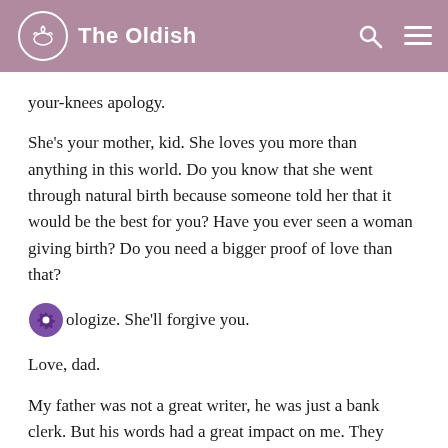The Oldish
your-knees apology.
She's your mother, kid. She loves you more than anything in this world. Do you know that she went through natural birth because someone told her that it would be the best for you? Have you ever seen a woman giving birth? Do you need a bigger proof of love than that?
Apologize. She'll forgive you.
Love, dad.
My father was not a great writer, he was just a bank clerk. But his words had a great impact on me. They were words that carried more wisdom than all of my 14 years of age at the time. (That wasn't very hard to achieve, though).
I rushed to my mother's room and opened the door. She was crying when she turned her head to look me in the eyes. She was also crying. I don't remember what she yelled at